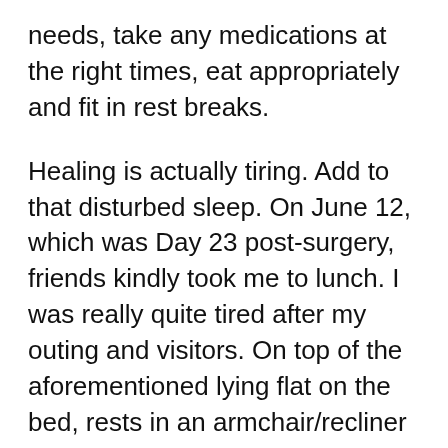needs, take any medications at the right times, eat appropriately and fit in rest breaks.
Healing is actually tiring. Add to that disturbed sleep. On June 12, which was Day 23 post-surgery, friends kindly took me to lunch. I was really quite tired after my outing and visitors. On top of the aforementioned lying flat on the bed, rests in an armchair/recliner after rehab exercises and walks are sensible. Each person recovers differently: listen to your body, don’t push it. If the vacuuming doesn’t get done today, it really doesn’t matter.